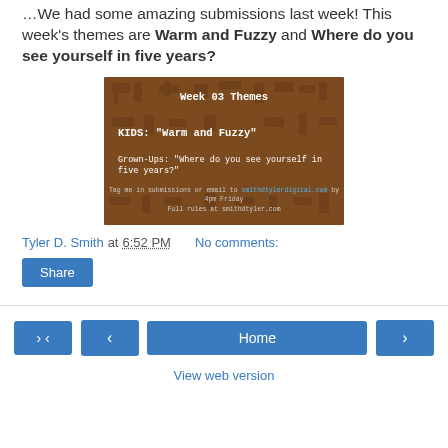We had some amazing submissions last week! This week's themes are Warm and Fuzzy and Where do you see yourself in five years?
[Figure (illustration): Brown-background card with tool patterns. Title: 'Week 03 Themes'. KIDS: "Warm and Fuzzy". Grown-Ups: "Where do you see yourself in five years?". Footer: Tag me in submissions or email to smithdtylerdigital.com by 4pm Friday. Full rules at smithdtyler.com.]
Tyler D. Smith at 6:52 PM   No comments:
Share
Home
View web version